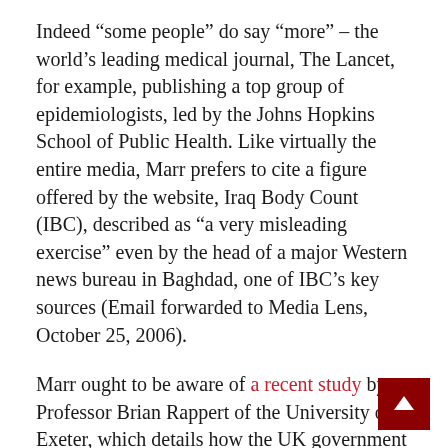Indeed “some people” do say “more” – the world’s leading medical journal, The Lancet, for example, publishing a top group of epidemiologists, led by the Johns Hopkins School of Public Health. Like virtually the entire media, Marr prefers to cite a figure offered by the website, Iraq Body Count (IBC), described as “a very misleading exercise” even by the head of a major Western news bureau in Baghdad, one of IBC’s key sources (Email forwarded to Media Lens, October 25, 2006).
Marr ought to be aware of a recent study by Professor Brian Rappert of the University of Exeter, which details how the UK government worked to discredit the Lancet studies. A ‘Restricted’ letter from a ministry’s Chief Economist dated 8 November 2004 closed with: